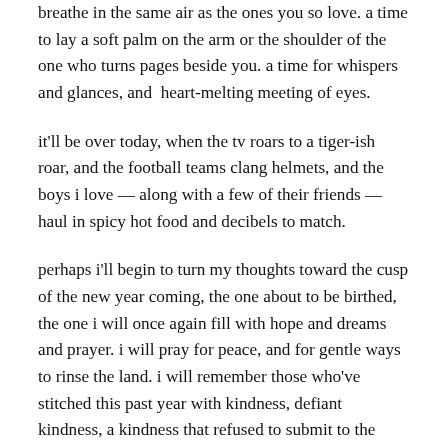breathe in the same air as the ones you so love. a time to lay a soft palm on the arm or the shoulder of the one who turns pages beside you. a time for whispers and glances, and heart-melting meeting of eyes.
it'll be over today, when the tv roars to a tiger-ish roar, and the football teams clang helmets, and the boys i love — along with a few of their friends — haul in spicy hot food and decibels to match.
perhaps i'll begin to turn my thoughts toward the cusp of the new year coming, the one about to be birthed, the one i will once again fill with hope and dreams and prayer. i will pray for peace, and for gentle ways to rinse the land. i will remember those who've stitched this past year with kindness, defiant kindness, a kindness that refused to submit to the ways of the loudest and most churlish